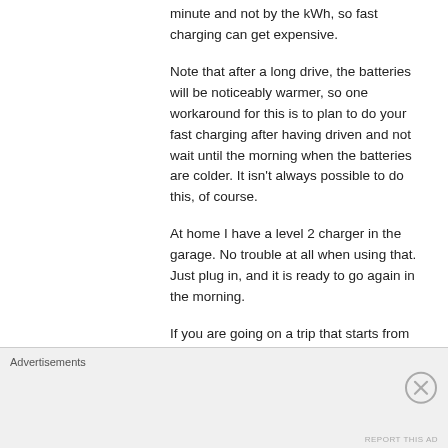minute and not by the kWh, so fast charging can get expensive.
Note that after a long drive, the batteries will be noticeably warmer, so one workaround for this is to plan to do your fast charging after having driven and not wait until the morning when the batteries are colder. It isn’t always possible to do this, of course.
At home I have a level 2 charger in the garage. No trouble at all when using that. Just plug in, and it is ready to go again in the morning.
If you are going on a trip that starts from home, it is worthwhile to “precondition” (run the heat while still plugged to a charger) which will warm the cabin without using up any of the battery. This is a sort of workaruond for the lack of a heat pump, but this is something you can obviously do even if you do have
Advertisements